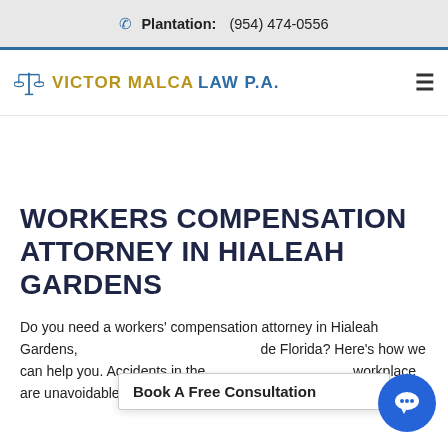Plantation: (954) 474-0556
[Figure (logo): Victor Malca Law P.A. logo with scales of justice icon and hamburger menu]
WORKERS COMPENSATION ATTORNEY IN HIALEAH GARDENS
Do you need a workers' compensation attorney in Hialeah Gardens, de Florida? Here's how we can help you. Accidents in the workplace are unavoidable and more common than you can
Book A Free Consultation